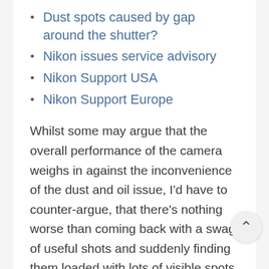Dust spots caused by gap around the shutter?
Nikon issues service advisory
Nikon Support USA
Nikon Support Europe
Whilst some may argue that the overall performance of the camera weighs in against the inconvenience of the dust and oil issue, I'd have to counter-argue, that there's nothing worse than coming back with a swag of useful shots and suddenly finding them loaded with lots of visible spots out of the blue and (not even as in my case) be able to palm it off to a lens change go horribly wrong. And if that's not enough, conventio cleaning fails to remove the junk from the sensor so the camera has to lay idle until the sensor can